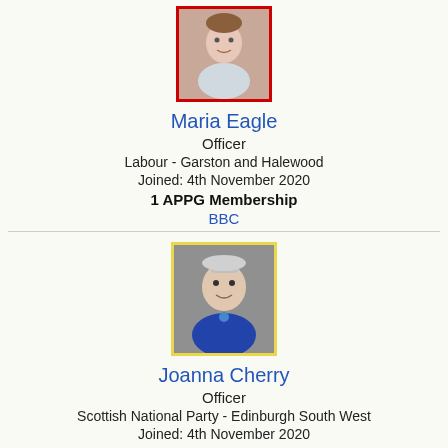[Figure (photo): Portrait photo of Maria Eagle with red border]
Maria Eagle
Officer
Labour - Garston and Halewood
Joined: 4th November 2020
1 APPG Membership
BBC
[Figure (photo): Portrait photo of Joanna Cherry with yellow border]
Joanna Cherry
Officer
Scottish National Party - Edinburgh South West
Joined: 4th November 2020
3 APPG Memberships
Catalonia , Rule of Law , White Ribbon UK